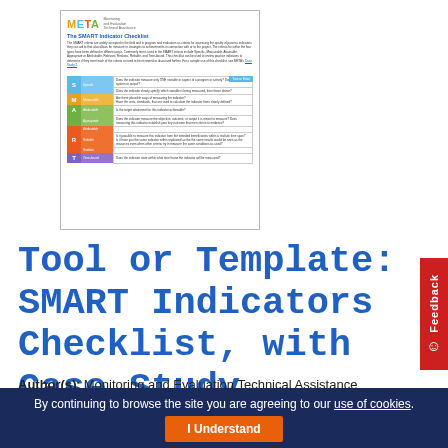[Figure (screenshot): Thumbnail preview of The SMART Indicator Checklist document from META (Monitoring and Evaluation Technical Assistance), showing a table with SMART criteria rows.]
Tool or Template: SMART Indicators Checklist, with Case Study
Author(s): Monitoring and Evaluation Technical Assistance (META)
Date: July 20, 2016
Topic(s): Monitoring and Evaluation
By continuing to browse the site you are agreeing to our use of cookies.
I Understand